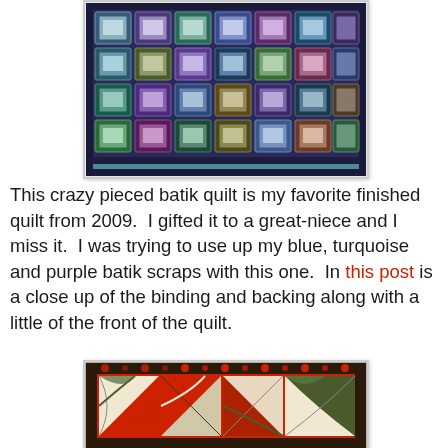[Figure (photo): A crazy pieced batik quilt in blue, teal, turquoise, and purple tones, with square spiral blocks arranged in a grid pattern. The quilt has a dark border.]
This crazy pieced batik quilt is my favorite finished quilt from 2009.  I gifted it to a great-niece and I miss it.  I was trying to use up my blue, turquoise and purple batik scraps with this one.  In this post is a close up of the binding and backing along with a little of the front of the quilt.
[Figure (photo): A Christmas quilt with a red and dark floral border, featuring curved pieced blocks (drunkard's path or fan blocks) in red, green, and cream holiday fabrics arranged in a windmill-like pattern.]